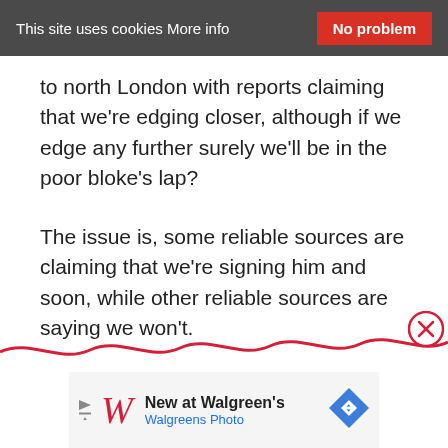This site uses cookies More info   No problem
to north London with reports claiming that we're edging closer, although if we edge any further surely we'll be in the poor bloke's lap?
The issue is, some reliable sources are claiming that we're signing him and soon, while other reliable sources are saying we won't.
[Figure (other): Red wavy decorative line at bottom of page with a red circle containing an X close button on the right side]
[Figure (other): Walgreens advertisement banner: 'New at Walgreens' with Walgreens Photo subtitle, W logo in red italic, and a blue diamond-shaped arrow icon]